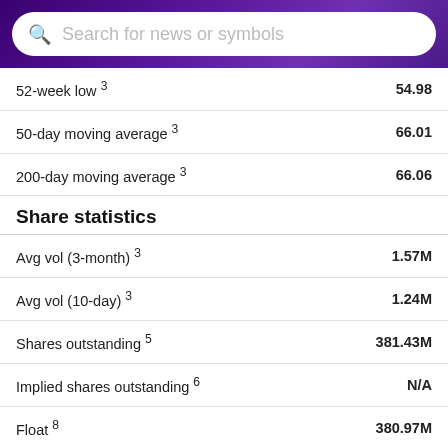Search for news or symbols
| Metric | Value |
| --- | --- |
| 52-week low 3 | 54.98 |
| 50-day moving average 3 | 66.01 |
| 200-day moving average 3 | 66.06 |
Share statistics
| Metric | Value |
| --- | --- |
| Avg vol (3-month) 3 | 1.57M |
| Avg vol (10-day) 3 | 1.24M |
| Shares outstanding 5 | 381.43M |
| Implied shares outstanding 6 | N/A |
| Float 8 | 380.97M |
| % held by insiders 1 | 0.09% |
| % held by institutions 1 | 90.09% |